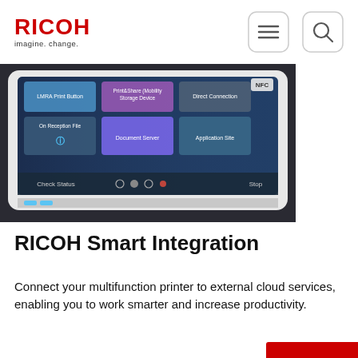RICOH imagine. change.
[Figure (photo): Close-up photo of a Ricoh multifunction printer touchscreen interface showing app tiles including Document Server, Application Site, and other cloud service options on a dark blue background.]
RICOH Smart Integration
Connect your multifunction printer to external cloud services, enabling you to work smarter and increase productivity.